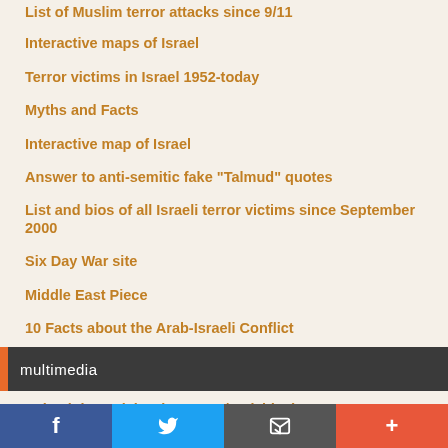List of Muslim terror attacks since 9/11
Interactive maps of Israel
Terror victims in Israel 1952-today
Myths and Facts
Interactive map of Israel
Answer to anti-semitic fake "Talmud" quotes
List and bios of all Israeli terror victims since September 2000
Six Day War site
Middle East Piece
10 Facts about the Arab-Israeli Conflict
multimedia
Palestinian celebrations on 9/11 (video)
source materials for Jewish learning